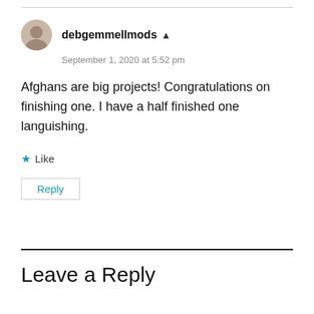debgemmellmods
September 1, 2020 at 5:52 pm
Afghans are big projects! Congratulations on finishing one. I have a half finished one languishing.
Like
Reply
Leave a Reply